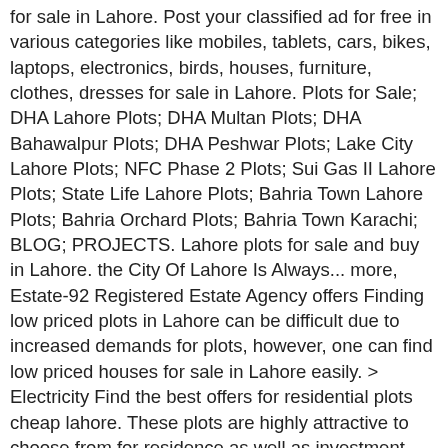for sale in Lahore. Post your classified ad for free in various categories like mobiles, tablets, cars, bikes, laptops, electronics, birds, houses, furniture, clothes, dresses for sale in Lahore. Plots for Sale; DHA Lahore Plots; DHA Multan Plots; DHA Bahawalpur Plots; DHA Peshwar Plots; Lake City Lahore Plots; NFC Phase 2 Plots; Sui Gas II Lahore Plots; State Life Lahore Plots; Bahria Town Lahore Plots; Bahria Orchard Plots; Bahria Town Karachi; BLOG; PROJECTS. Lahore plots for sale and buy in Lahore. the City Of Lahore Is Always... more, Estate-92 Registered Estate Agency offers Finding low priced plots in Lahore can be difficult due to increased demands for plots, however, one can find low priced houses for sale in Lahore easily. > Electricity Find the best offers for residential plots cheap lahore. These plots are highly attractive to choose from for residence as well as investment purposes. Find the best Installment Plots price! Similarly, around DHA Lahore, you shall find top-notch education providers like The City School-Alpha, Defence Public School, Lahore Grammar School, FWS